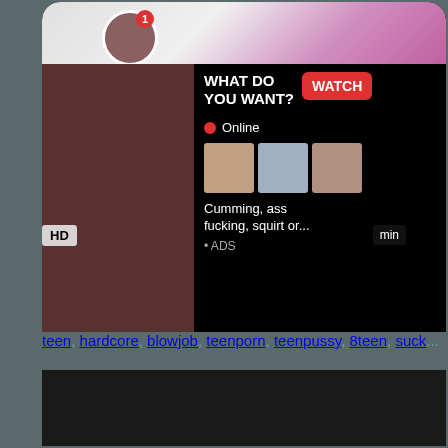[Figure (screenshot): Adult website screenshot showing a video thumbnail with an overlaid advertisement popup. The ad contains a 'WHAT DO YOU WANT?' headline with a red WATCH button, an Online indicator with red dot, thumbnail images, descriptive text 'Cumming, ass fucking, squirt or...' and an ADS label. An HD badge and duration badge are visible. Below is a tags line with hyperlinks: teen, hardcore, blowjob, teenporn, teenpussy, 8teen, suck...]
teen, hardcore, blowjob, teenporn, teenpussy, 8teen, suck...